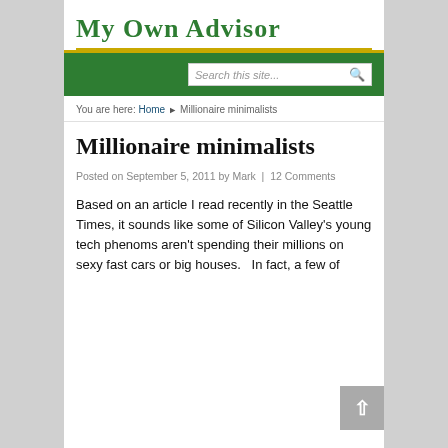My Own Advisor
Search this site...
You are here: Home ▶ Millionaire minimalists
Millionaire minimalists
Posted on September 5, 2011 by Mark  |  12 Comments
Based on an article I read recently in the Seattle Times, it sounds like some of Silicon Valley's young tech phenoms aren't spending their millions on sexy fast cars or big houses.   In fact, a few of